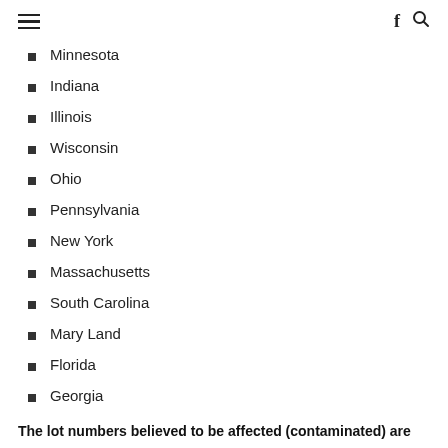≡  f 🔍
Minnesota
Indiana
Illinois
Wisconsin
Ohio
Pennsylvania
New York
Massachusetts
South Carolina
Mary Land
Florida
Georgia
The lot numbers believed to be affected (contaminated) are as